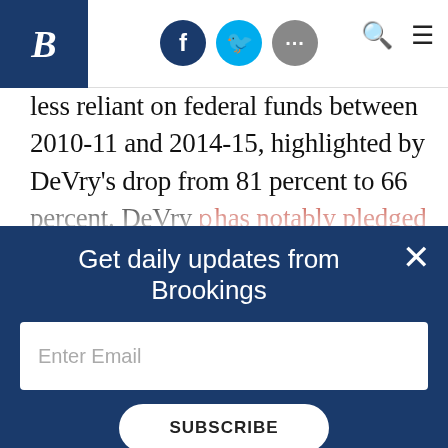Brookings Institution website header with logo, social icons, search and menu
less reliant on federal funds between 2010-11 and 2014-15, highlighted by DeVry’s drop from 81 percent to 66 percent. DeVry has notably pledged to voluntarily abide by the 85/15 rule across all of its colleges (including veterans’ benefits), so its declining reliance on federal aid is not surprising. ITT Tech saw a 20 percent increase in its share of revenues coming from financial aid before its
[Figure (screenshot): Brookings Institution newsletter signup overlay with dark navy background, text 'Get daily updates from Brookings', email input field, and SUBSCRIBE button]